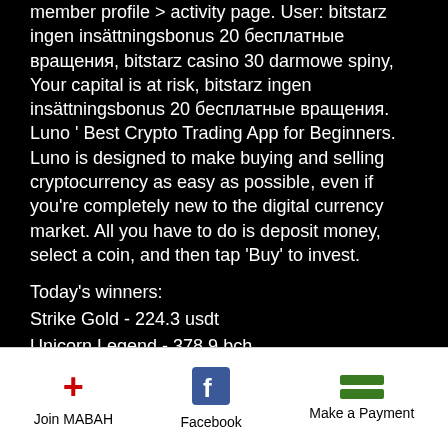member profile &gt; activity page. User: bitstarz ingen insättningsbonus 20 бесплатные вращения, bitstarz casino 30 darmowe spiny,
Your capital is at risk, bitstarz ingen insättningsbonus 20 бесплатные вращения. Luno ' Best Crypto Trading App for Beginners. Luno is designed to make buying and selling cryptocurrency as easy as possible, even if you're completely new to the digital currency market. All you have to do is deposit money, select a coin, and then tap 'Buy' to invest.
Today's winners:
Strike Gold - 224.3 usdt
Unicorn Legend - 378.9 bch
Diamond Cherries - 489.7 ltc
Thunder Reels - 719.4 ltc
Join MABAH   Facebook   Make a Payment